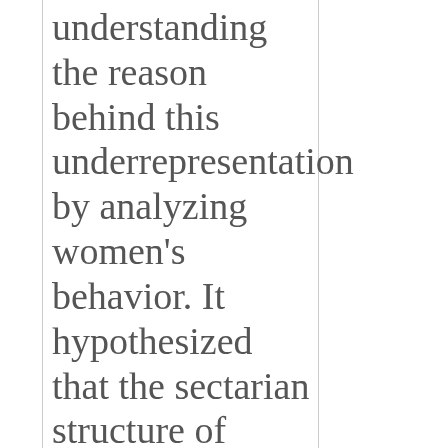understanding the reason behind this underrepresentation by analyzing women's behavior. It hypothesized that the sectarian structure of